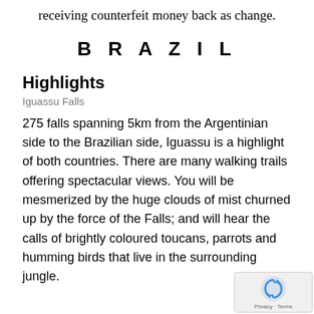receiving counterfeit money back as change.
BRAZIL
Highlights
Iguassu Falls
275 falls spanning 5km from the Argentinian side to the Brazilian side, Iguassu is a highlight of both countries. There are many walking trails offering spectacular views. You will be mesmerized by the huge clouds of mist churned up by the force of the Falls; and will hear the calls of brightly coloured toucans, parrots and humming birds that live in the surrounding jungle.